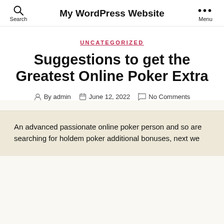My WordPress Website
UNCATEGORIZED
Suggestions to get the Greatest Online Poker Extra
By admin   June 12, 2022   No Comments
An advanced passionate online poker person and so are searching for holdem poker additional bonuses, next we